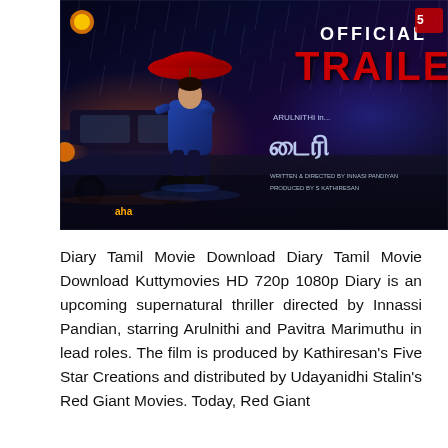[Figure (photo): Official Trailer movie poster for Tamil film 'Diary' (also written in Tamil script). Shows a man in a blue jacket holding a red umbrella in the rain, near a car on a dark rainy night. Text reads 'OFFICIAL TRAILER', 'ARULNITHI in...' and Tamil title text, 'WRITTEN & DIRECTED BY INNASI PANDIYAN', 'PRODUCED BY S KATHIRESAN'. Logos for Aha streaming and production companies visible.]
Diary Tamil Movie Download Diary Tamil Movie Download Kuttymovies HD 720p 1080p Diary is an upcoming supernatural thriller directed by Innassi Pandian, starring Arulnithi and Pavitra Marimuthu in lead roles. The film is produced by Kathiresan's Five Star Creations and distributed by Udayanidhi Stalin's Red Giant Movies. Today, Red Giant